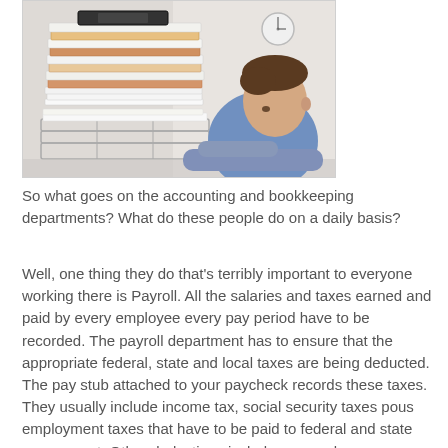[Figure (photo): A man in a blue shirt resting his head on his arms on a desk, next to a very large stack of file folders and papers in a wire inbox tray, with a clock visible in the background.]
So what goes on the accounting and bookkeeping departments? What do these people do on a daily basis?
Well, one thing they do that’s terribly important to everyone working there is Payroll. All the salaries and taxes earned and paid by every employee every pay period have to be recorded. The payroll department has to ensure that the appropriate federal, state and local taxes are being deducted. The pay stub attached to your paycheck records these taxes. They usually include income tax, social security taxes pous employment taxes that have to be paid to federal and state government. Other deductions include personal